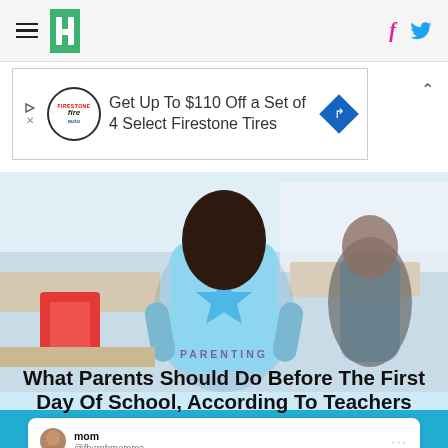HuffPost navigation with hamburger menu, logo, Facebook and Twitter icons
[Figure (other): Advertisement banner: Get Up To $110 Off a Set of 4 Select Firestone Tires]
[Figure (photo): Student with light blue backpack with a star, standing in a classroom, viewed from behind]
PARENTING
What Parents Should Do Before The First Day Of School, According To Teachers
[Figure (screenshot): Tweet from mom (@fbombmomma): So how old is JJ in cocomelon? He goes to school and can name dinosaurs but sleeps in a crib and baby]